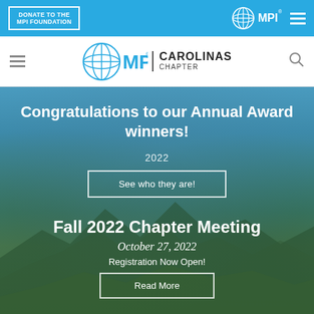DONATE TO THE MPI FOUNDATION | MPI Logo | Menu
[Figure (logo): MPI Carolinas Chapter logo with globe icon, MPI wordmark, and CAROLINAS CHAPTER text]
Congratulations to our Annual Award winners!
2022
See who they are!
Fall 2022 Chapter Meeting
October 27, 2022
Registration Now Open!
Read More